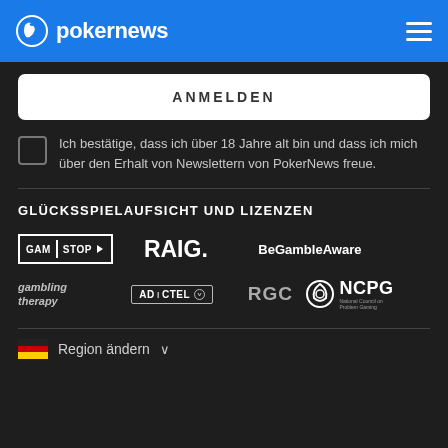pokernews
ANMELDEN
Ich bestätige, dass ich über 18 Jahre alt bin und dass ich mich über den Erhalt von Newslettern von PokerNews freue.
GLÜCKSSPIELAUFSICHT UND LIZENZEN
[Figure (logo): Logos: GAM STOP, RAIG., BeGambleAware, gambling therapy, ADICTEL, RGC, NCPG]
Region ändern